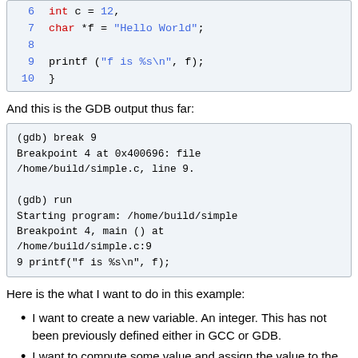[Figure (screenshot): Code block showing lines 6-10 of a C program: int c = 12, char *f = Hello World, printf]
And this is the GDB output thus far:
[Figure (screenshot): GDB terminal output showing break 9, Breakpoint 4 at 0x400696, run command, Starting program, Breakpoint 4 hit at simple.c:9]
Here is the what I want to do in this example:
I want to create a new variable. An integer. This has not been previously defined either in GCC or GDB.
I want to compute some value and assign the value to the location of this new variable.